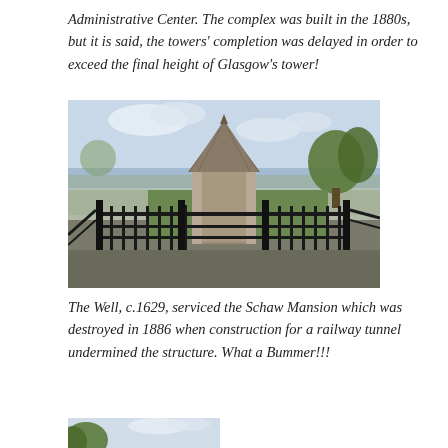Administrative Center. The complex was built in the 1880s, but it is said, the towers' completion was delayed in order to exceed the final height of Glasgow's tower!
[Figure (photo): Photograph of a stone well structure with a pyramid-shaped top, enclosed by black iron railings. Trees and a body of water are visible in the background.]
The Well, c.1629, serviced the Schaw Mansion which was destroyed in 1886 when construction for a railway tunnel undermined the structure. What a Bummer!!!
[Figure (photo): Partial photograph showing trees against a sky, bottom portion of page.]